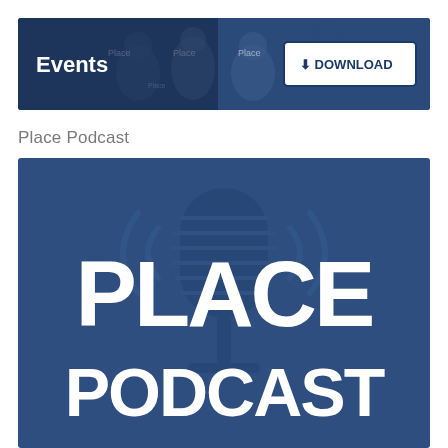[Figure (screenshot): Events banner with photo of panel discussion participants, blue overlay, 'Events' label on left, and Download button on right]
Place Podcast
[Figure (logo): Place Podcast logo: dark blue square background with large microphone silhouette watermark, bold white text 'PLACE' on top and 'PODCAST' below]